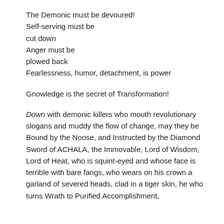The Demonic must be devoured!
Self-serving must be
cut down
Anger must be
plowed back
Fearlessness, humor, detachment, is power
Gnowledge is the secret of Transformation!
Down with demonic killers who mouth revolutionary slogans and muddy the flow of change, may they be Bound by the Noose, and Instructed by the Diamond Sword of ACHALA, the Immovable, Lord of Wisdom, Lord of Heat, who is squint-eyed and whose face is terrible with bare fangs, who wears on his crown a garland of severed heads, clad in a tiger skin, he who turns Wrath to Purified Accomplishment,